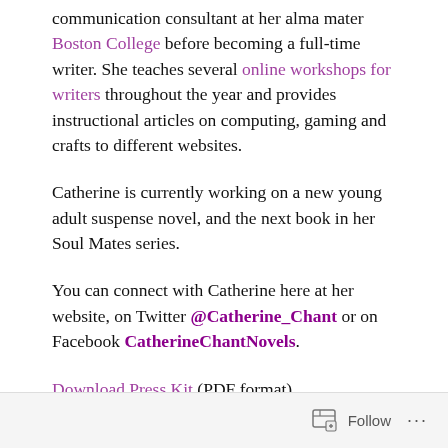communication consultant at her alma mater Boston College before becoming a full-time writer. She teaches several online workshops for writers throughout the year and provides instructional articles on computing, gaming and crafts to different websites.
Catherine is currently working on a new young adult suspense novel, and the next book in her Soul Mates series.
You can connect with Catherine here at her website, on Twitter @Catherine_Chant or on Facebook CatherineChantNovels.
Download Press Kit (PDF format)
Follow